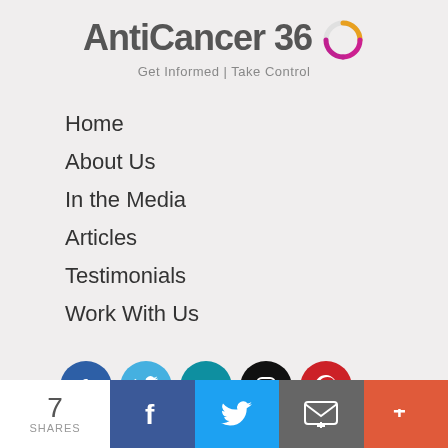[Figure (logo): AntiCancer 360 logo with circular gradient ring and tagline 'Get Informed | Take Control']
Home
About Us
In the Media
Articles
Testimonials
Work With Us
[Figure (infographic): Row of 5 social media icons: Facebook (blue), Twitter (light blue), LinkedIn (teal), Instagram (black), Pinterest (red)]
7 SHARES | Facebook share | Twitter share | Email share | More